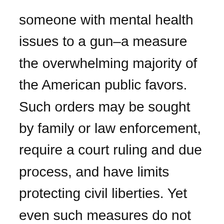someone with mental health issues to a gun–a measure the overwhelming majority of the American public favors. Such orders may be sought by family or law enforcement, require a court ruling and due process, and have limits protecting civil liberties. Yet even such measures do not impair law abiding citizens from buying any gun they want.
That is why I want politicians to stop using the label “pro-life.” Almost none that I know are consistently pro-life. They are only pro-life in the areas their base wants them to be pro-life. Which, from what I can see is “pro-fetus.” I